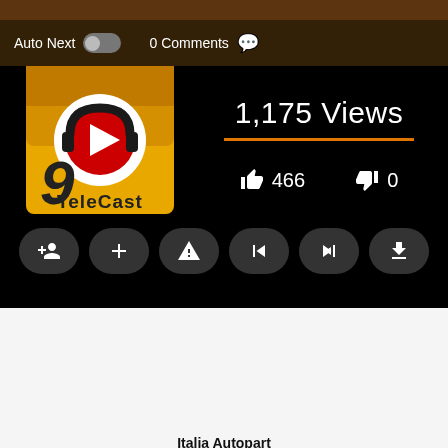[Figure (screenshot): Video player interface showing TeleCast logo, 1,175 Views, 466 likes, 0 dislikes, and media control buttons. Auto Next toggle and 0 Comments shown at top.]
Overwatch Cinematic Trailer
INFO9IN  DECEMBER 18, 2017  0  1.2K  466  0
[Figure (photo): Circular avatar photo of a person holding a camera, shown in dark setting]
Italia Autopart